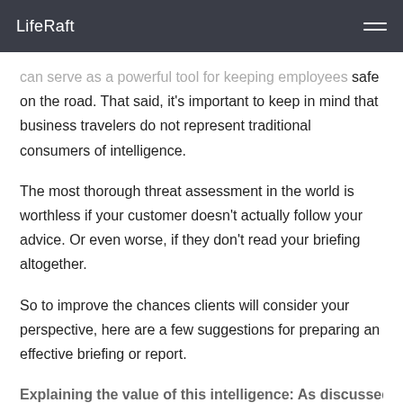LifeRaft
can serve as a powerful tool for keeping employees safe on the road. That said, it's important to keep in mind that business travelers do not represent traditional consumers of intelligence.
The most thorough threat assessment in the world is worthless if your customer doesn't actually follow your advice. Or even worse, if they don't read your briefing altogether.
So to improve the chances clients will consider your perspective, here are a few suggestions for preparing an effective briefing or report.
Explaining the value of this intelligence: As discussed, the